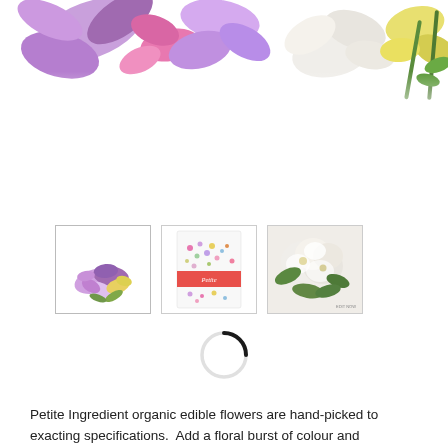[Figure (photo): Top banner with colorful flowers — purple, pink, lavender, white, and yellow sweet peas/orchids on a white background, viewed from above]
[Figure (photo): Thumbnail 1 (selected): Small pile of purple, lavender, and yellow edible flowers on white background]
[Figure (photo): Thumbnail 2: Product package showing colorful confetti-like edible flowers with 'Petite' branding and a red/coral label band]
[Figure (photo): Thumbnail 3: Arrangement of white and cream flowers with green leaves on a light background]
[Figure (other): Loading spinner / circular progress indicator — black arc on top of a light grey circle outline]
Petite Ingredient organic edible flowers are hand-picked to exacting specifications.  Add a floral burst of colour and